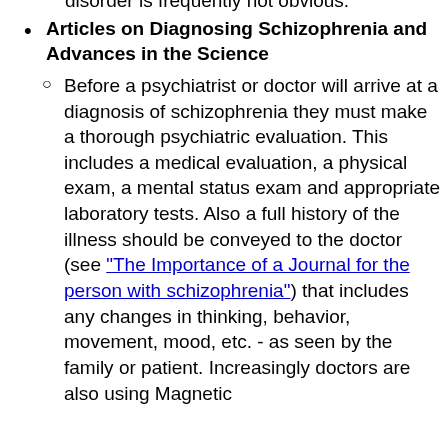disorder is frequently not obvious.
Articles on Diagnosing Schizophrenia and Advances in the Science
Before a psychiatrist or doctor will arrive at a diagnosis of schizophrenia they must make a thorough psychiatric evaluation. This includes a medical evaluation, a physical exam, a mental status exam and appropriate laboratory tests. Also a full history of the illness should be conveyed to the doctor (see "The Importance of a Journal for the person with schizophrenia") that includes any changes in thinking, behavior, movement, mood, etc. - as seen by the family or patient. Increasingly doctors are also using Magnetic